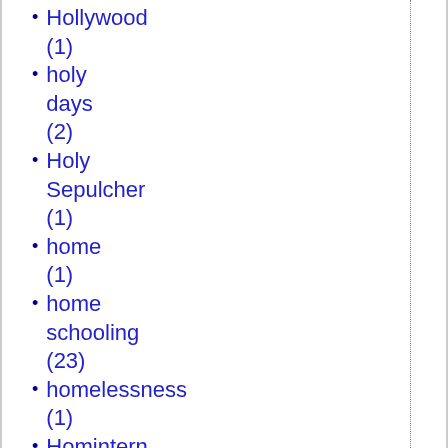Hollywood (1)
holy days (2)
Holy Sepulcher (1)
home (1)
home schooling (23)
homelessness (1)
Homintern (1)
homosexual "marriage (1)
homosexual "marriage" (2)
homosexual agenda